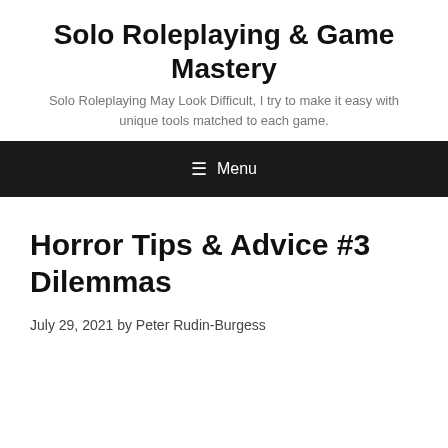Solo Roleplaying & Game Mastery
Solo Roleplaying May Look Difficult, I try to make it easy with unique tools matched to each game.
☰ Menu
Horror Tips & Advice #3 Dilemmas
July 29, 2021 by Peter Rudin-Burgess